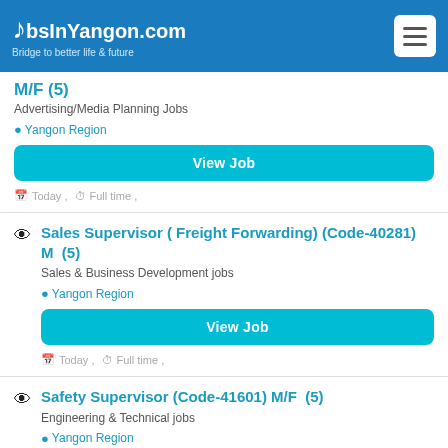JobsInYangon.com — Bridge to better life & future
M/F (5)
Advertising/Media Planning Jobs
Yangon Region
View Job
Today , Full time ,
Sales Supervisor ( Freight Forwarding) (Code-40281) M (5)
Sales & Business Development jobs
Yangon Region
View Job
Today , Full time ,
Safety Supervisor (Code-41601) M/F (5)
Engineering & Technical jobs
Yangon Region